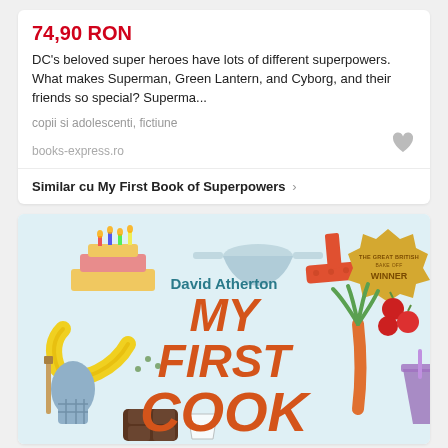74,90 RON
DC's beloved super heroes have lots of different superpowers. What makes Superman, Green Lantern, and Cyborg, and their friends so special? Superma...
copii si adolescenti, fictiune
books-express.ro
Similar cu My First Book of Superpowers ›
[Figure (illustration): Book cover of 'My First Cook' by David Atherton, featuring colorful illustrated kitchen items and food (birthday cake, spatula, bananas, oven mitt, carrots, tomatoes, brownies, smoothie glass). A gold badge reads 'WINNER'. The title text shows 'MY FIRST COOK' in large orange italic letters with 'David Atherton' in teal above.]